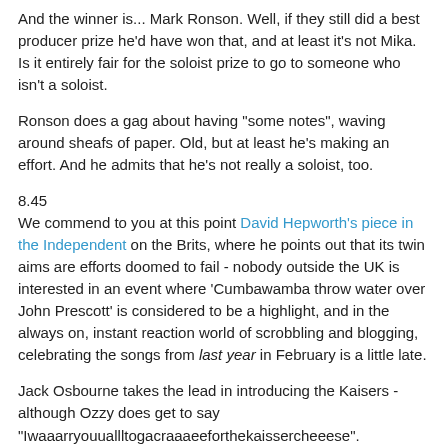And the winner is... Mark Ronson. Well, if they still did a best producer prize he'd have won that, and at least it's not Mika. Is it entirely fair for the soloist prize to go to someone who isn't a soloist.
Ronson does a gag about having "some notes", waving around sheafs of paper. Old, but at least he's making an effort. And he admits that he's not really a soloist, too.
8.45
We commend to you at this point David Hepworth's piece in the Independent on the Brits, where he points out that its twin aims are efforts doomed to fail - nobody outside the UK is interested in an event where 'Cumbawamba throw water over John Prescott' is considered to be a highlight, and in the always on, instant reaction world of scrobbling and blogging, celebrating the songs from last year in February is a little late.
Jack Osbourne takes the lead in introducing the Kaisers - although Ozzy does get to say "Iwaaarryouuallltogacraaaeeforthekaissercheeese".